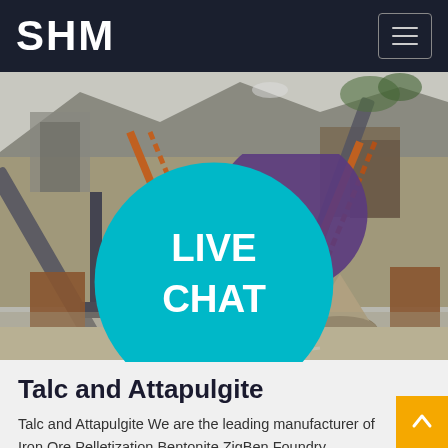SHM
[Figure (photo): Industrial mining/quarrying site with conveyor belts, cone crushers, and heavy machinery visible in a rocky open-pit setting]
Talc and Attapulgite
Talc and Attapulgite We are the leading manufacturer of Iron Ore Pelletization Bentonite ZigBen Foundry Bentonite ZigBen Feldspar and more. The next generation of resources...